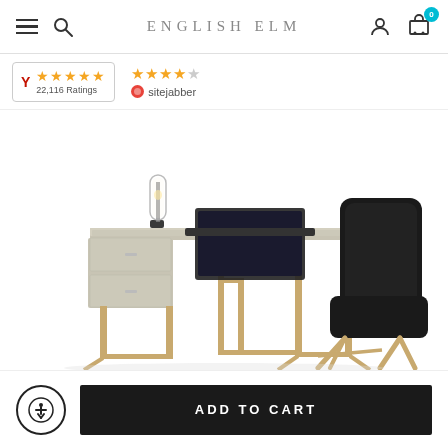ENGLISH ELM
[Figure (logo): English Elm e-commerce website header with hamburger menu, search icon, ENGLISH ELM logo, account icon, and cart icon with badge showing 0]
[Figure (other): Yelp rating badge showing 5 stars and 22,116 Ratings, plus Sitejabber rating showing 4.5 stars]
[Figure (photo): Product photo of a modern beige/cream desk with gold metal legs, two drawers, a laptop on top, a glass table lamp, and a black velvet accent chair with gold legs on white background]
[Figure (other): Accessibility button icon (person in circle) and ADD TO CART black button]